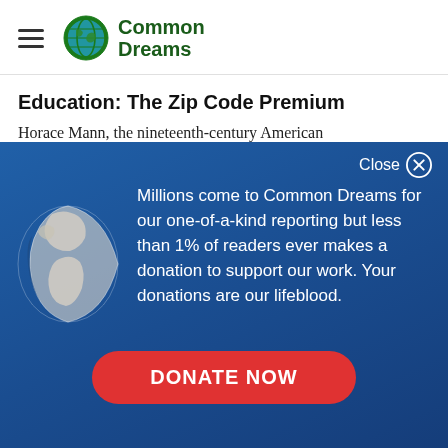Common Dreams
Education: The Zip Code Premium
Horace Mann, the nineteenth-century American
[Figure (screenshot): Common Dreams donation modal overlay with globe icon, text about readership and donations, and a DONATE NOW button on a blue gradient background]
Millions come to Common Dreams for our one-of-a-kind reporting but less than 1% of readers ever makes a donation to support our work. Your donations are our lifeblood.